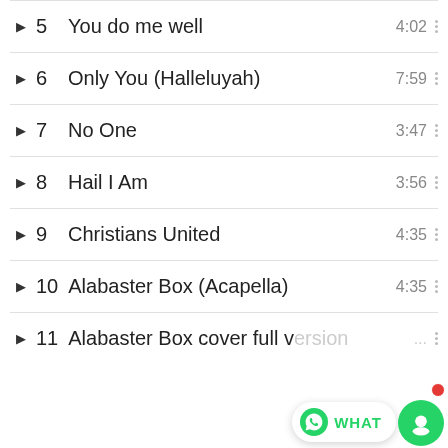5  You do me well  4:02
6  Only You (Halleluyah)  7:59
7  No One  3:47
8  Hail I Am  3:56
9  Christians United  4:35
10  Alabaster Box (Acapella)  4:35
11  Alabaster Box cover full version  ...